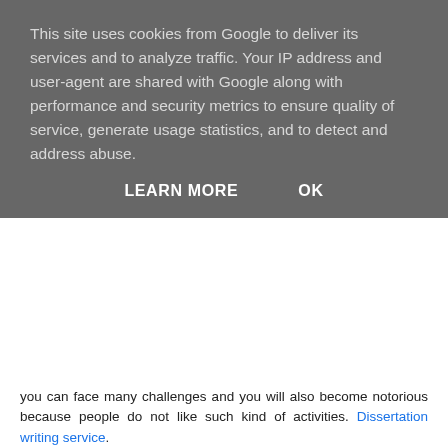This site uses cookies from Google to deliver its services and to analyze traffic. Your IP address and user-agent are shared with Google along with performance and security metrics to ensure quality of service, generate usage statistics, and to detect and address abuse.
LEARN MORE    OK
you can face many challenges and you will also become notorious because people do not like such kind of activities. Dissertation writing service.
Reply
NISHA  19 July 2020 at 22:20
Most of the students are fascinated with opting Law as a career.
A good academic record leads to a good placement also. Unique Submission law assignment writing help services are here to take off the burden of multiple assignment writing topics from your shoulders.
Here our law subject expert writers will ensure to get you